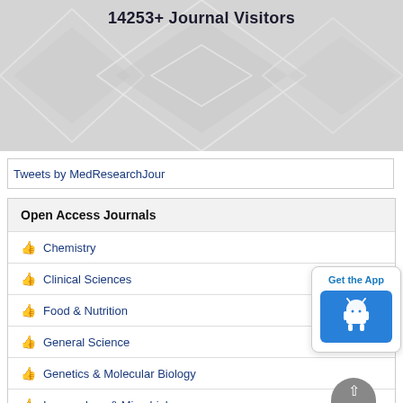[Figure (illustration): Gray geometric banner with diamond/rhombus overlapping shapes, displaying '14253+ Journal Visitors' text at the top]
Tweets by MedResearchJour
Open Access Journals
Chemistry
Clinical Sciences
Food & Nutrition
General Science
Genetics & Molecular Biology
Immunology & Microbiology
[Figure (illustration): Get the App card with Android robot icon on blue button]